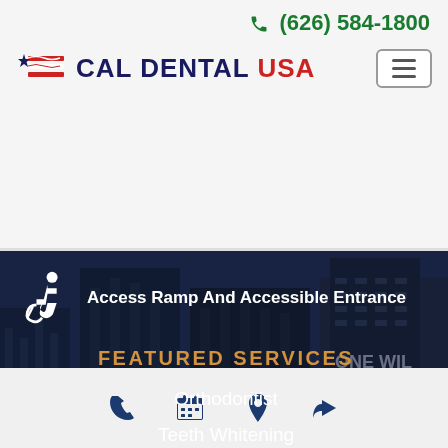(626) 584-1800
[Figure (logo): Cal Dental USA logo with American flag star and stripes icon]
Access Ramp And Accessible Entrance
FEATURED SERVICES
Orthodontist
Teeth Whitening
Endodontist
Phone, Calendar, Location, Share icons